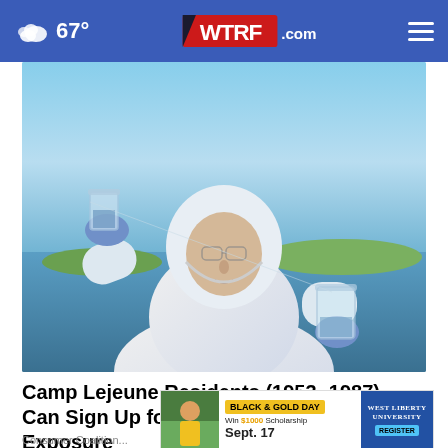67° WTRF.com
[Figure (photo): Person in white hazmat/protective suit and blue gloves holding glass beakers with water sample near a body of water outdoors]
Camp Lejeune Residents (1953 -1987) Can Sign Up for Compensation for Exposure
Consumer Coalition
[Figure (photo): Advertisement banner: BLACK & GOLD DAY - Win $1000 Scholarship - Sept. 17 - West Liberty University - REGISTER]